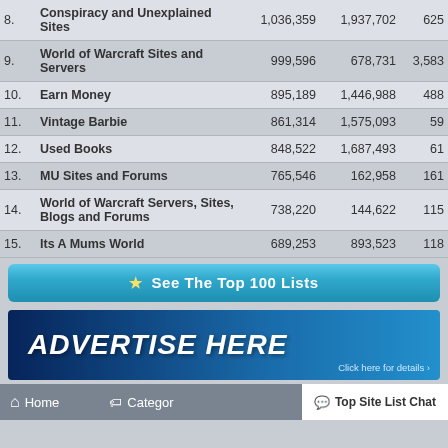| # | Site Name | Unique In | Unique Out | Sites |
| --- | --- | --- | --- | --- |
| 8. | Conspiracy and Unexplained Sites | 1,036,359 | 1,937,702 | 625 |
| 9. | World of Warcraft Sites and Servers | 999,596 | 678,731 | 3,583 |
| 10. | Earn Money | 895,189 | 1,446,988 | 488 |
| 11. | Vintage Barbie | 861,314 | 1,575,093 | 59 |
| 12. | Used Books | 848,522 | 1,687,493 | 61 |
| 13. | MU Sites and Forums | 765,546 | 162,958 | 161 |
| 14. | World of Warcraft Servers, Sites, Blogs and Forums | 738,220 | 144,622 | 115 |
| 15. | Its A Mums World | 689,253 | 893,523 | 118 |
★ See The Top 100 Lists
[Figure (infographic): Advertise Here banner with blue gradient background and click here for details link]
Home    Categories    Top Site List Chat